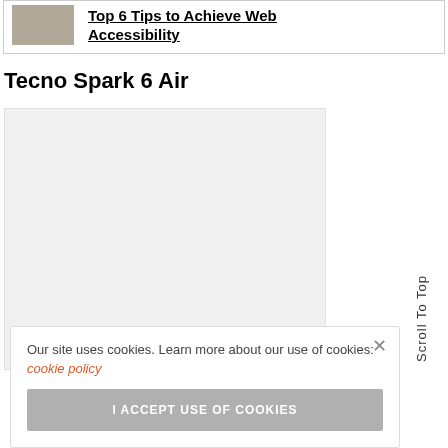[Figure (screenshot): Top card with thumbnail image and link text 'Top 6 Tips to Achieve Web Accessibility']
Tecno Spark 6 Air
[Figure (photo): Main content image placeholder for Tecno Spark 6 Air article]
Our site uses cookies. Learn more about our use of cookies: cookie policy
I ACCEPT USE OF COOKIES